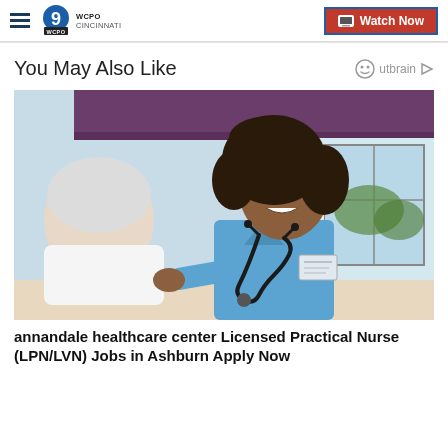WCPO Cincinnati — Watch Now
You May Also Like
[Figure (photo): A smiling Black female nurse in blue scrubs with a stethoscope leans toward an elderly white male patient in a healthcare setting.]
annandale healthcare center Licensed Practical Nurse (LPN/LVN) Jobs in Ashburn Apply Now